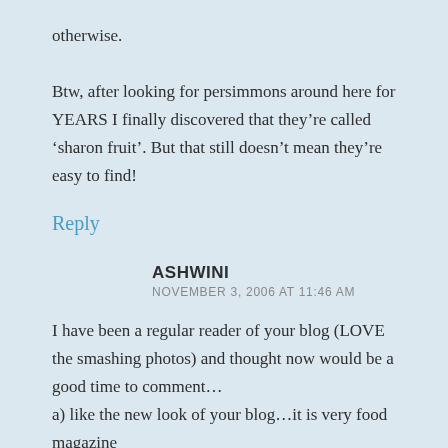otherwise.
Btw, after looking for persimmons around here for YEARS I finally discovered that they’re called ‘sharon fruit’. But that still doesn’t mean they’re easy to find!
Reply
ASHWINI
NOVEMBER 3, 2006 AT 11:46 AM
I have been a regular reader of your blog (LOVE the smashing photos) and thought now would be a good time to comment…
a) like the new look of your blog…it is very food magazine